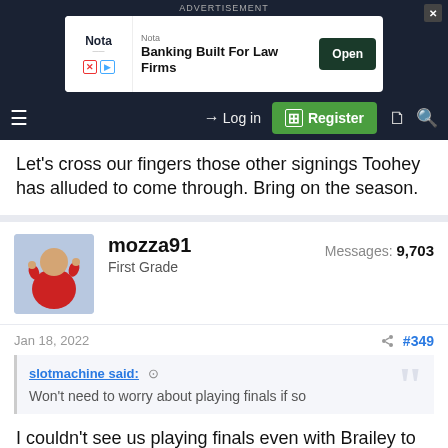[Figure (screenshot): Advertisement banner for Nota Banking Built For Law Firms with Open button]
Navigation bar with hamburger menu, Log in, Register, document icon, search icon
Let's cross our fingers those other signings Toohey has alluded to come through. Bring on the season.
mozza91
First Grade
Messages: 9,703
Jan 18, 2022   #349
slotmachine said:
Won't need to worry about playing finals if so
I couldn't see us playing finals even with Brailey to be honest. Definitely won't be now though.